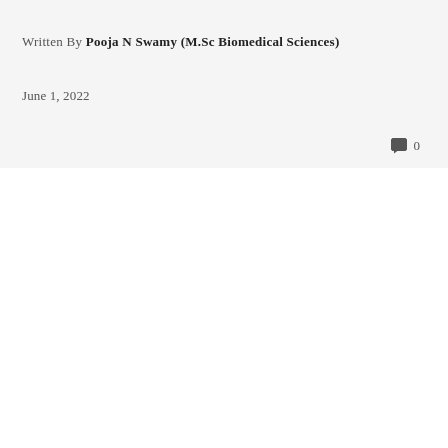Written By Pooja N Swamy (M.Sc Biomedical Sciences)
June 1, 2022
0